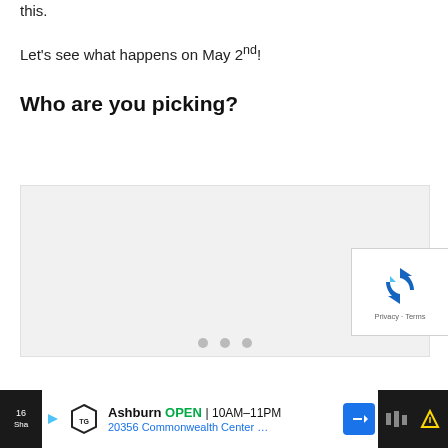this.
Let's see what happens on May 2nd!
Who are you picking?
[Figure (other): Embedded widget/poll area with light gray background and reCAPTCHA badge in lower right corner. Three pagination dots at bottom.]
[Figure (other): Advertisement bar: Topgolf Ashburn OPEN 10AM-11PM, 20356 Commonwealth Center... with navigation arrow icon.]